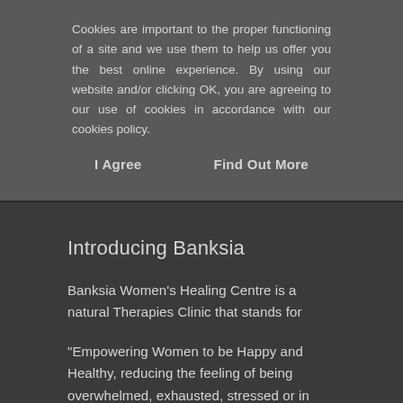Cookies are important to the proper functioning of a site and we use them to help us offer you the best online experience. By using our website and/or clicking OK, you are agreeing to our use of cookies in accordance with our cookies policy.
I Agree     Find Out More
Introducing Banksia
Banksia Women's Healing Centre is a natural Therapies Clinic that stands for
“Empowering Women to be Happy and Healthy, reducing the feeling of being overwhelmed, exhausted, stressed or in pain”